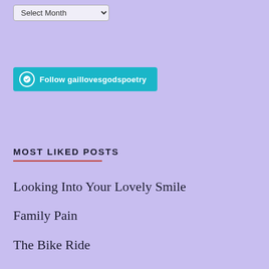[Figure (screenshot): A dropdown select element labeled 'Select Month']
[Figure (screenshot): A teal 'Follow gaillovesgodspoetry' WordPress follow button]
MOST LIKED POSTS
Looking Into Your Lovely Smile
Family Pain
The Bike Ride
Therapeutic Escapes